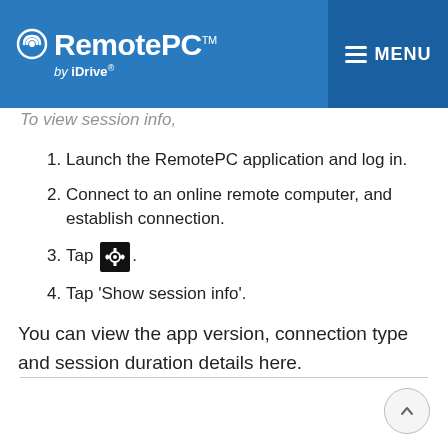RemotePC™ by IDrive — MENU
To view session info,
1. Launch the RemotePC application and log in.
2. Connect to an online remote computer, and establish connection.
3. Tap [gear icon].
4. Tap 'Show session info'.
You can view the app version, connection type and session duration details here.